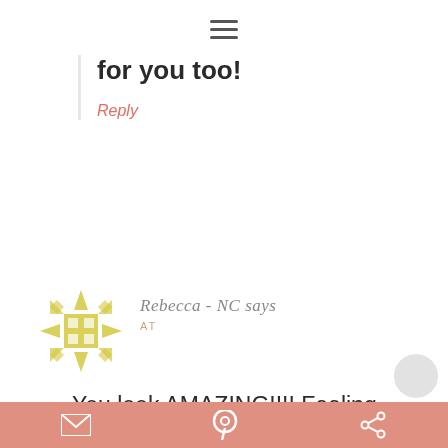≡ (hamburger menu)
for you too!
Reply
[Figure (illustration): Yellow geometric avatar icon resembling a quilt or compass rose pattern]
Rebecca - NC says
AT
You look AMAZING!!!! Feeling great = looking great. You are so smart to take charge of this now. And
Social share bar with email, Pinterest, and share icons